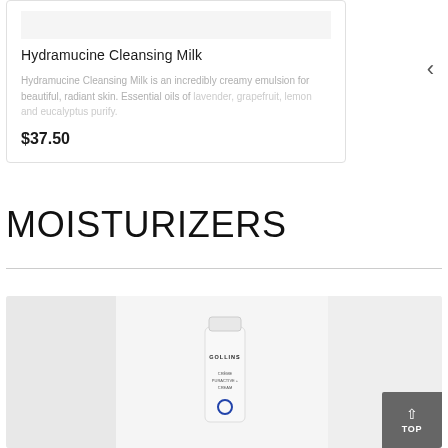[Figure (photo): Product card showing Hydramucine Cleansing Milk with gray image area at top, product title, description text, and price]
Hydramucine Cleansing Milk
Hydramucine Cleansing Milk is an incredibly creamy emulsion for beautiful, radiant skin. Essential oils of lavender, grapefruit, lemon and eucalyptus purify.
$37.50
MOISTURIZERS
[Figure (photo): Product image area showing a white tube labeled GOLLINS CREME PURACTIVE+ CREAM with a blue circle logo, on a gray background split into three panels]